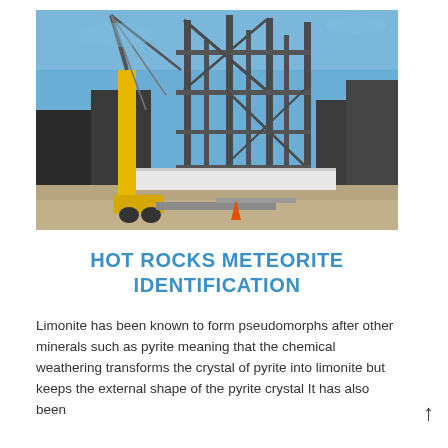[Figure (photo): Construction site with steel framework structure and yellow crane under blue sky]
HOT ROCKS METEORITE IDENTIFICATION
Limonite has been known to form pseudomorphs after other minerals such as pyrite meaning that the chemical weathering transforms the crystal of pyrite into limonite but keeps the external shape of the pyrite crystal It has also been